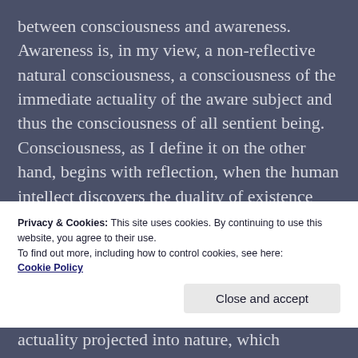between consciousness and awareness. Awareness is, in my view, a non-reflective natural consciousness, a consciousness of the immediate actuality of the aware subject and thus the consciousness of all sentient being. Consciousness, as I define it on the other hand, begins with reflection, when the human intellect discovers the duality of existence and begins to distinguish between the positive and the negative in existence, between good and evil, and impose this duality of existence upon the actuality of the natural world, denying the reality of spiritual
Privacy & Cookies: This site uses cookies. By continuing to use this website, you agree to their use.
To find out more, including how to control cookies, see here: Cookie Policy
actuality projected into nature, which demands